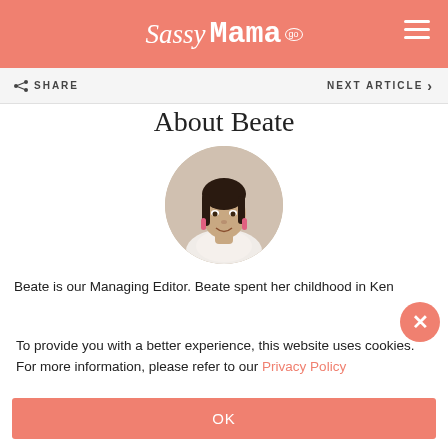Sassy Mama
SHARE   NEXT ARTICLE
About Beate
[Figure (photo): Circular portrait photo of Beate, a woman with dark hair, wearing pink earrings and a white top, smiling.]
Beate is our Managing Editor. Beate spent her childhood in Ken…
To provide you with a better experience, this website uses cookies. For more information, please refer to our Privacy Policy
OK